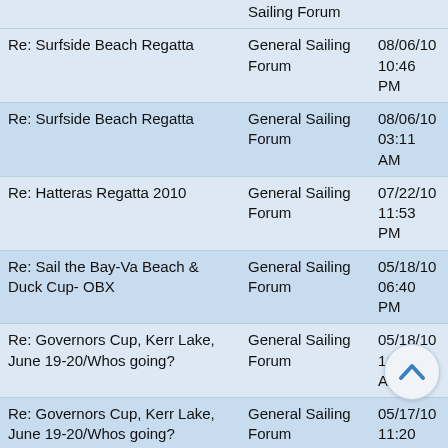| Subject | Forum | Date |
| --- | --- | --- |
| (Sailing Forum - partial) |  |  |
| Re: Surfside Beach Regatta | General Sailing Forum | 08/06/10 10:46 PM |
| Re: Surfside Beach Regatta | General Sailing Forum | 08/06/10 03:11 AM |
| Re: Hatteras Regatta 2010 | General Sailing Forum | 07/22/10 11:53 PM |
| Re: Sail the Bay-Va Beach & Duck Cup- OBX | General Sailing Forum | 05/18/10 06:40 PM |
| Re: Governors Cup, Kerr Lake, June 19-20/Whos going? | General Sailing Forum | 05/18/10 11:17 AM |
| Re: Governors Cup, Kerr Lake, June 19-20/Whos going? | General Sailing Forum | 05/17/10 11:20 AM |
| Re: Sail the Bay Regatta 2010 | General Sailing Forum | 05/06/10 09:39 PM |
| Spring Fever Pics are up!!! | General Sailing Forum | 04/12/10 03:09 PM |
| Re: Any word from Spring Fever | General Sailing Forum | 04/05/10 08:04 PM |
| Guess what? I've got a Spring Fever. | General Sailing Forum | 04/01/10 02:36 PM |